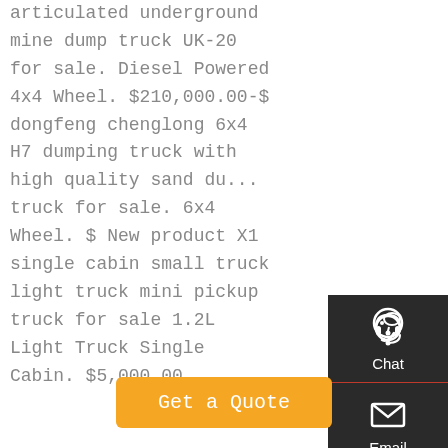articulated underground mine dump truck UK-20 for sale. Diesel Powered 4x4 Wheel. $210,000.00-$ dongfeng chenglong 6x4 H7 dumping truck with high quality sand du... truck for sale. 6x4 Wheel. $ New product X1 single cabin small truck light truck mini pickup truck for sale 1.2L Light Truck Single Cabin. $5,000.00
[Figure (infographic): Dark sidebar panel with Chat (headset icon), Email (envelope icon), Contact (speech bubble icon), and Top (up arrow icon) buttons, each separated by a red line.]
Get a Quote